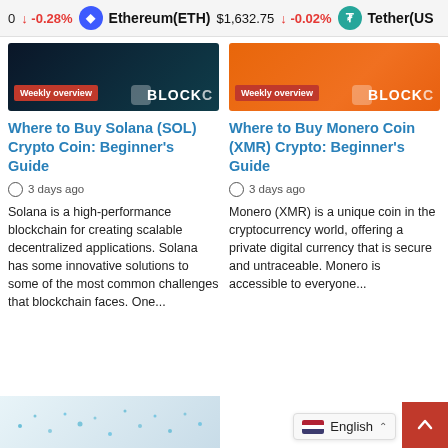0 ↓ -0.28%   Ethereum(ETH) $1,632.75 ↓ -0.02%   Tether(US...
[Figure (screenshot): Blockchain Weekly overview card with dark teal background and BLOCKO logo]
[Figure (screenshot): Blockchain Weekly overview card with orange background and BLOCKO logo]
Where to Buy Solana (SOL) Crypto Coin: Beginner's Guide
Where to Buy Monero Coin (XMR) Crypto: Beginner's Guide
3 days ago
3 days ago
Solana is a high-performance blockchain for creating scalable decentralized applications. Solana has some innovative solutions to some of the most common challenges that blockchain faces. One...
Monero (XMR) is a unique coin in the cryptocurrency world, offering a private digital currency that is secure and untraceable. Monero is accessible to everyone...
English